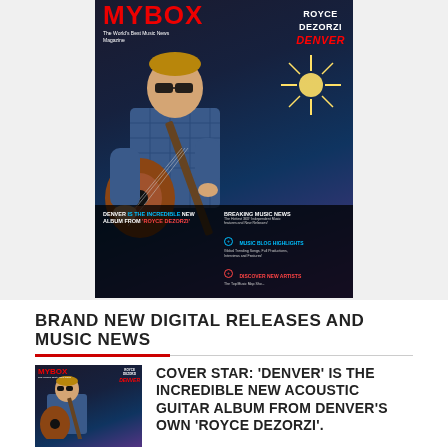[Figure (photo): Magazine cover of MYBOX - The World's Best Music News Magazine, featuring Royce DeZorzi 'Denver' album. Shows a young man with sunglasses playing acoustic guitar with a starburst light effect. Bottom section shows text about Denver album, Breaking Music News, Music Blog Highlights, and Discover New Artists.]
BRAND NEW DIGITAL RELEASES AND MUSIC NEWS
[Figure (photo): Thumbnail of the same magazine cover showing Royce DeZorzi playing guitar with MYBOX magazine branding and Denver album text.]
COVER STAR: 'DENVER' IS THE INCREDIBLE NEW ACOUSTIC GUITAR ALBUM FROM DENVER'S OWN 'ROYCE DEZORZI'.